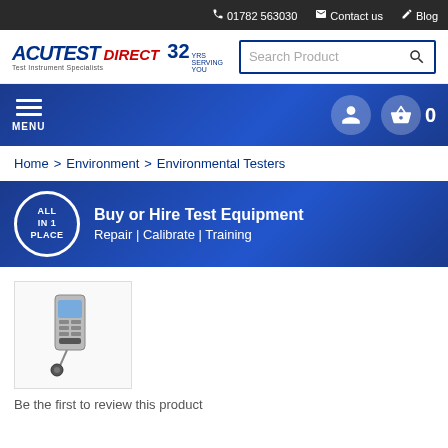01782 563030  Contact us  Blog
[Figure (logo): Acutest Direct logo with '32 years' badge and Test Instrument Specialists tagline]
Search Product
MENU
Home > Environment > Environmental Testers
ALL IN 1 PLACE  Buy or Hire Test Equipment  Repair | Calibrate | Training
[Figure (photo): Small thumbnail image of an environmental tester instrument with probe/sensor attachment]
Be the first to review this product